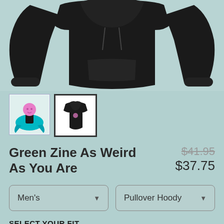[Figure (photo): Black pullover hoodie product photo on light teal background, shown front and back]
[Figure (photo): Thumbnail 1: Green Zine character illustration with pink head on teal bird]
[Figure (photo): Thumbnail 2 (selected): Black hoodie with small logo, selected with dark border]
Green Zine As Weird As You Are
$41.95 $37.75
Men's
Pullover Hoody
SELECT YOUR FIT